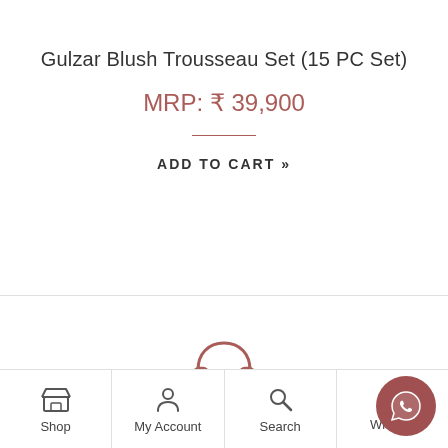Gulzar Blush Trousseau Set (15 PC Set)
MRP: ₹ 39,900
ADD TO CART »
CALL US
[Figure (illustration): Headphone/customer support icon in mauve/dusty rose color]
Shop  My Account  Search  Wishlist